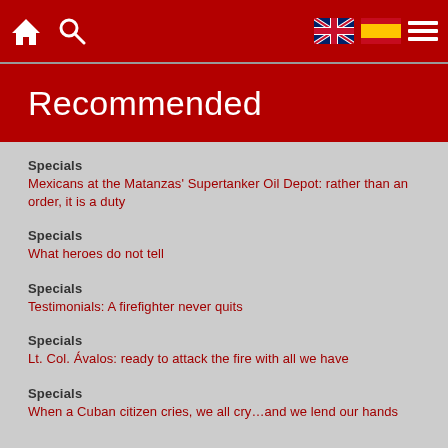Navigation bar with home icon, search icon, UK flag, Spain flag, hamburger menu
Recommended
Specials
Mexicans at the Matanzas' Supertanker Oil Depot: rather than an order, it is a duty
Specials
What heroes do not tell
Specials
Testimonials: A firefighter never quits
Specials
Lt. Col. Ávalos: ready to attack the fire with all we have
Specials
When a Cuban citizen cries, we all cry…and we lend our hands